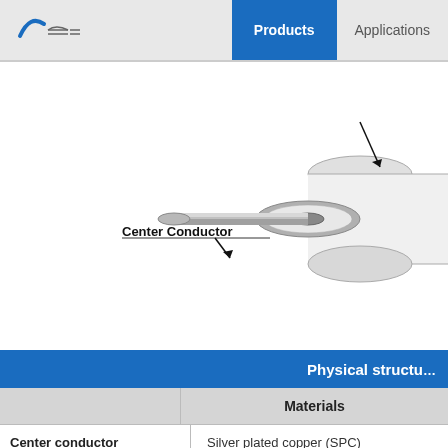Products | Applications
[Figure (engineering-diagram): Cross-section diagram of a coaxial cable showing the Center Conductor labeled with a callout arrow pointing to the inner cylindrical conductor protruding from the cut end of the cable.]
|  | Materials |
| --- | --- |
| Center conductor | Silver plated copper (SPC) |